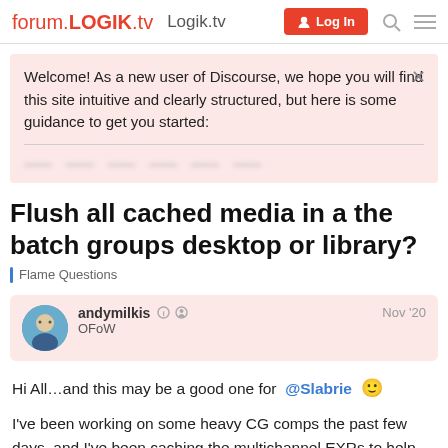forum.LOGIK.tv  Logik.tv  Log In
Welcome! As a new user of Discourse, we hope you will find this site intuitive and clearly structured, but here is some guidance to get you started:
Flush all cached media in a the batch groups desktop or library?
Flame Questions
andymilkis  OFoW  Nov '20
Hi All...and this may be a good one for @Slabrie 🙂
I've been working on some heavy CG comps the past few days, and I've been caching the multichannel EXRs to help speed up